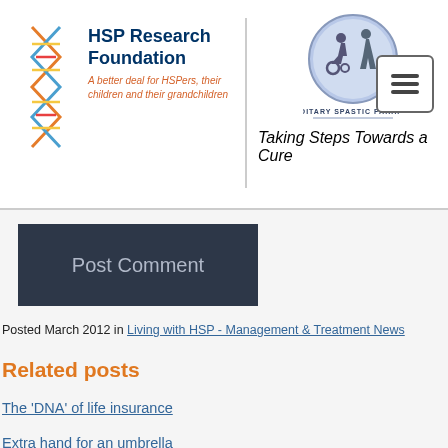[Figure (logo): HSP Research Foundation logo with DNA double helix icon and text: 'HSP Research Foundation – A better deal for HSPers, their children and their grandchildren']
[Figure (logo): Hereditary Spastic Paraplegia logo with circular emblem showing silhouette of person in wheelchair and standing person, text: 'Hereditary Spastic Paraplegia – Taking Steps Towards a Cure']
[Figure (other): Hamburger menu button icon with three horizontal lines inside a rounded rectangle border]
Post Comment
Posted March 2012 in Living with HSP - Management & Treatment News
Related posts
The 'DNA' of life insurance
Extra hand for an umbrella
Mobility Aids